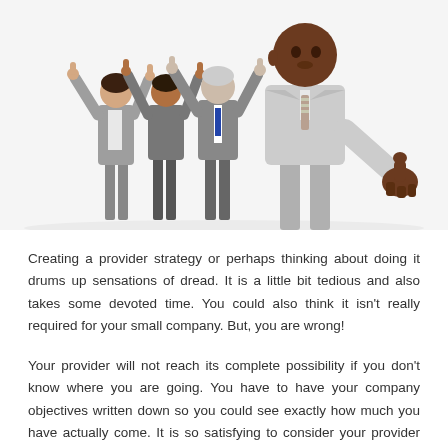[Figure (photo): Group of business people giving thumbs up. In the foreground, a bald Black man in a light gray suit and striped tie points his thumbs toward the camera. Behind him, three colleagues (two women and one man) in business attire also give thumbs up against a white background.]
Creating a provider strategy or perhaps thinking about doing it drums up sensations of dread. It is a little bit tedious and also takes some devoted time. You could also think it isn't really required for your small company. But, you are wrong!
Your provider will not reach its complete possibility if you don't know where you are going. You have to have your company objectives written down so you could see exactly how much you have actually come. It is so satisfying to consider your provider plan (or objectives)